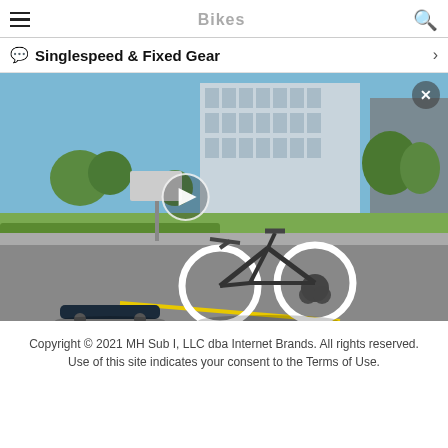Bikes
Singlespeed & Fixed Gear
[Figure (photo): A white fixed-gear / singlespeed bicycle and an electric skateboard on a road with a modern building and trees in the background. A video play button overlay is visible on the left side of the image, and a close (X) button is in the upper right corner.]
Copyright © 2021 MH Sub I, LLC dba Internet Brands. All rights reserved. Use of this site indicates your consent to the Terms of Use.